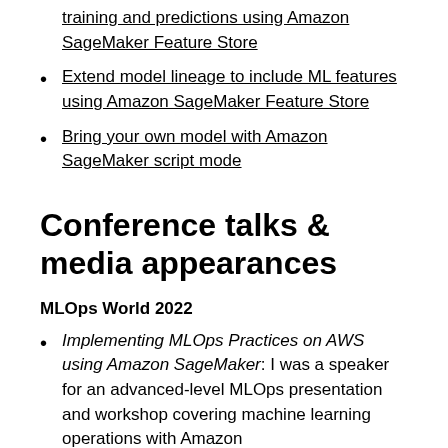training and predictions using Amazon SageMaker Feature Store
Extend model lineage to include ML features using Amazon SageMaker Feature Store
Bring your own model with Amazon SageMaker script mode
Conference talks & media appearances
MLOps World 2022
Implementing MLOps Practices on AWS using Amazon SageMaker: I was a speaker for an advanced-level MLOps presentation and workshop covering machine learning operations with Amazon